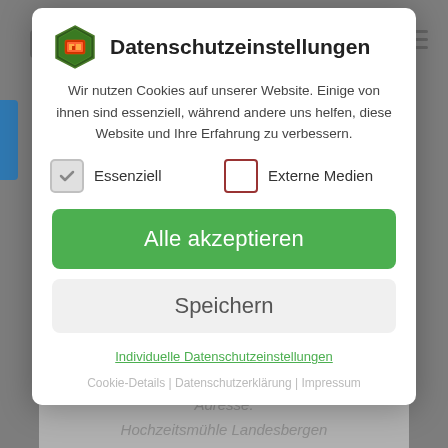[Figure (screenshot): Gray background with partially visible webpage content behind a modal dialog]
Datenschutzeinstellungen
Wir nutzen Cookies auf unserer Website. Einige von ihnen sind essenziell, während andere uns helfen, diese Website und Ihre Erfahrung zu verbessern.
Essenziell
Externe Medien
Alle akzeptieren
Speichern
Individuelle Datenschutzeinstellungen
Cookie-Details | Datenschutzerklärung | Impressum
Monat ab 20.00 Uhr
Adresse:
Hochzeitsmühle Landesbergen